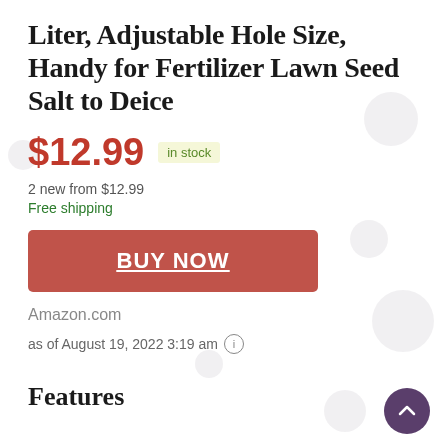Liter, Adjustable Hole Size, Handy for Fertilizer Lawn Seed Salt to Deice
$12.99  in stock
2 new from $12.99
Free shipping
BUY NOW
Amazon.com
as of August 19, 2022 3:19 am
Features